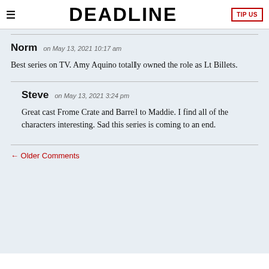DEADLINE | TIP US
Norm on May 13, 2021 10:17 am
Best series on TV. Amy Aquino totally owned the role as Lt Billets.
Steve on May 13, 2021 3:24 pm
Great cast Frome Crate and Barrel to Maddie. I find all of the characters interesting. Sad this series is coming to an end.
← Older Comments